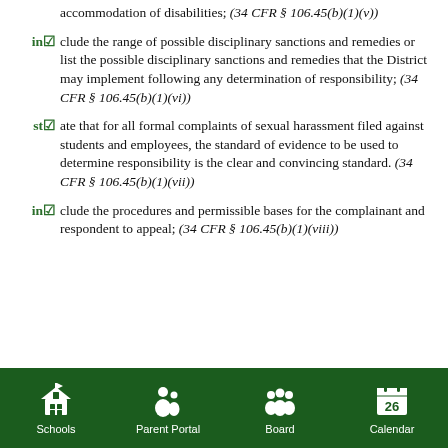accommodation of disabilities; (34 CFR § 106.45(b)(1)(v))
include the range of possible disciplinary sanctions and remedies or list the possible disciplinary sanctions and remedies that the District may implement following any determination of responsibility; (34 CFR § 106.45(b)(1)(vi))
state that for all formal complaints of sexual harassment filed against students and employees, the standard of evidence to be used to determine responsibility is the clear and convincing standard. (34 CFR § 106.45(b)(1)(vii))
include the procedures and permissible bases for the complainant and respondent to appeal; (34 CFR § 106.45(b)(1)(viii))
Schools  Parent Portal  Board  Calendar